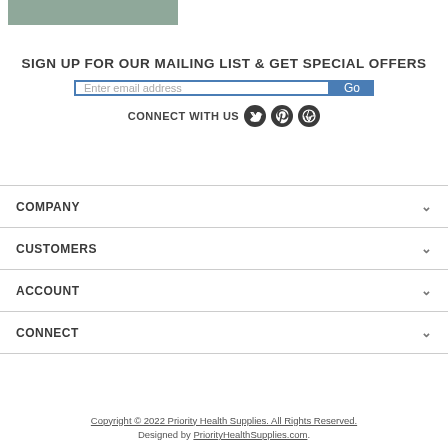[Figure (photo): Partial product image, grey/green color, cropped at top]
SIGN UP FOR OUR MAILING LIST & GET SPECIAL OFFERS
Enter email address  Go
CONNECT WITH US
COMPANY
CUSTOMERS
ACCOUNT
CONNECT
Copyright © 2022 Priority Health Supplies. All Rights Reserved. Designed by PriorityHealthSupplies.com.